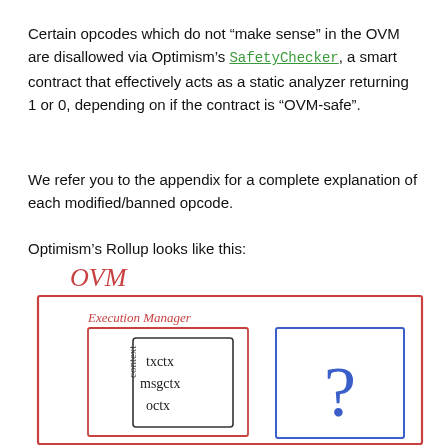Certain opcodes which do not “make sense” in the OVM are disallowed via Optimism’s SafetyChecker, a smart contract that effectively acts as a static analyzer returning 1 or 0, depending on if the contract is “OVM-safe”.
We refer you to the appendix for a complete explanation of each modified/banned opcode.
Optimism’s Rollup looks like this:
[Figure (engineering-diagram): Hand-drawn diagram of Optimism's Rollup architecture. Outer box labeled 'OVM' in red cursive. Inside is a red-bordered 'Execution Manager' box containing a nested box labeled with 'txctx', 'msgctx', 'octx' with 'context' written vertically on the left side. To the right is a blue-bordered box with a large question mark inside.]